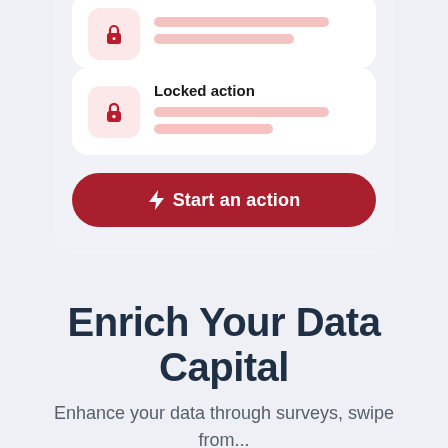[Figure (screenshot): Mobile app UI screenshot showing two list items with lock icons and pink backgrounds, and a dark red 'Start an action' button with a bolt icon. The top list item is partially clipped. The second item is labeled 'Locked action'. Below is a call-to-action section.]
Enrich Your Data Capital
Enhance your data through surveys, swipe from...